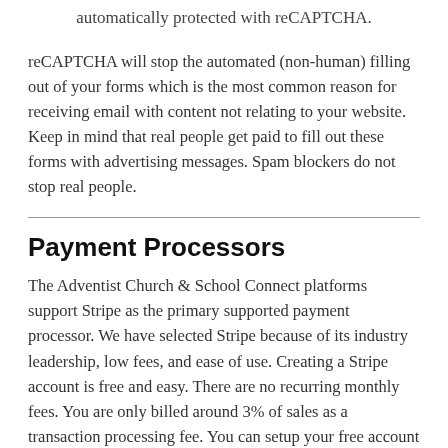automatically protected with reCAPTCHA.
reCAPTCHA will stop the automated (non-human) filling out of your forms which is the most common reason for receiving email with content not relating to your website. Keep in mind that real people get paid to fill out these forms with advertising messages. Spam blockers do not stop real people.
Payment Processors
The Adventist Church & School Connect platforms support Stripe as the primary supported payment processor. We have selected Stripe because of its industry leadership, low fees, and ease of use. Creating a Stripe account is free and easy. There are no recurring monthly fees. You are only billed around 3% of sales as a transaction processing fee. You can setup your free account